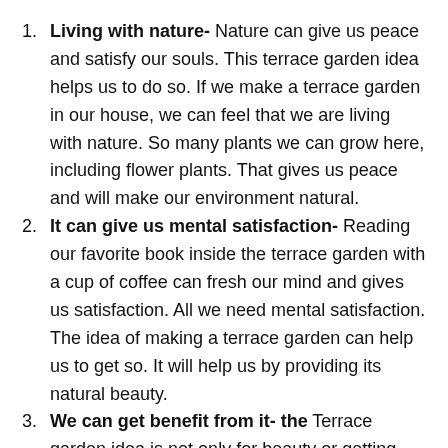Living with nature- Nature can give us peace and satisfy our souls. This terrace garden idea helps us to do so. If we make a terrace garden in our house, we can feel that we are living with nature. So many plants we can grow here, including flower plants. That gives us peace and will make our environment natural.
It can give us mental satisfaction- Reading our favorite book inside the terrace garden with a cup of coffee can fresh our mind and gives us satisfaction. All we need mental satisfaction. The idea of making a terrace garden can help us to get so. It will help us by providing its natural beauty.
We can get benefit from it- the Terrace garden idea is not only for beauty or getting